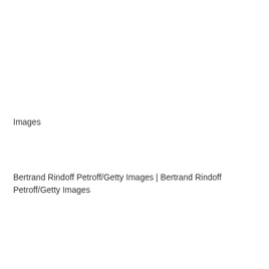Images
Bertrand Rindoff Petroff/Getty Images | Bertrand Rindoff Petroff/Getty Images